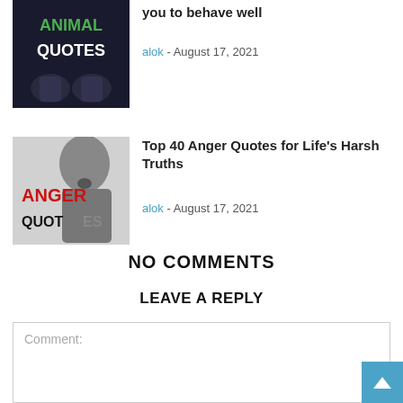[Figure (photo): Animal Quotes thumbnail — dark background with green text 'ANIMAL' and white text 'QUOTES', hands below]
you to behave well
alok - August 17, 2021
[Figure (photo): Anger Quotes thumbnail — black and white photo of man shouting, red text 'ANGER' and black text 'QUOTES']
Top 40 Anger Quotes for Life's Harsh Truths
alok - August 17, 2021
NO COMMENTS
LEAVE A REPLY
Comment: